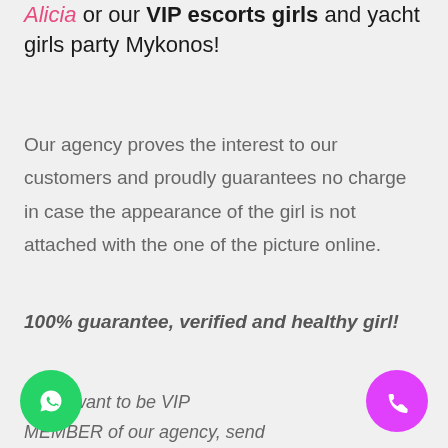Alicia or our VIP escorts girls and yacht girls party Mykonos!
Our agency proves the interest to our customers and proudly guarantees no charge in case the appearance of the girl is not attached with the one of the picture online.
100% guarantee, verified and healthy girl!
If you want to be VIP MEMBER of our agency, send email to